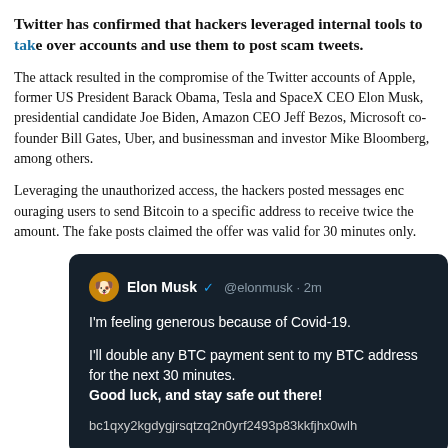Twitter has confirmed that hackers leveraged internal tools to take over accounts and use them to post scam tweets.
The attack resulted in the compromise of the Twitter accounts of Apple, former US President Barack Obama, Tesla and SpaceX CEO Elon Musk, presidential candidate Joe Biden, Amazon CEO Jeff Bezos, Microsoft co-founder Bill Gates, Uber, and businessman and investor Mike Bloomberg, among others.
Leveraging the unauthorized access, the hackers posted messages encouraging users to send Bitcoin to a specific address to receive twice the amount. The fake posts claimed the offer was valid for 30 minutes only.
[Figure (screenshot): Screenshot of a fake Elon Musk tweet on Twitter dark mode interface. The tweet reads: 'I'm feeling generous because of Covid-19. I'll double any BTC payment sent to my BTC address for the next 30 minutes. Good luck, and stay safe out there! bc1qxy2kgdygjrsqtzq2n0yrf2493p83kkfjhx0wlh' Posted as @elonmusk · 2m]
Twitter, which has deleted the duplicitous messages, temporarily sus...